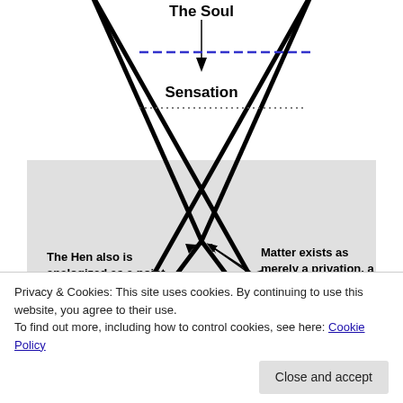[Figure (schematic): A philosophical diagram showing two overlapping triangles (Star of David / hourglass shape) with labels: 'The Soul' at top with a downward arrow, a blue dashed line, 'Sensation' below that, a dotted line, a gray shaded rectangular region in the middle with text on the left 'The Hen also is analogized as a point radiating Being.' and on the right 'Matter exists as merely a privation, a non-existent point', arrows pointing to the center crossing point. Below the crossing, a dashed oval with radiating arrows pointing outward in multiple directions. The overall structure is formed by two triangles crossing at a central point.]
Privacy & Cookies: This site uses cookies. By continuing to use this website, you agree to their use. To find out more, including how to control cookies, see here: Cookie Policy